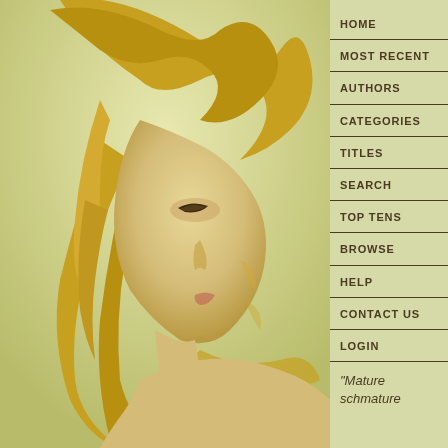[Figure (illustration): Digital painting of a woman in profile view with flowing golden/blonde hair against a yellow-green background, bare shoulders, looking to the left.]
HOME
MOST RECENT
AUTHORS
CATEGORIES
TITLES
SEARCH
TOP TENS
BROWSE
HELP
CONTACT US
LOGIN
"Mature schmature